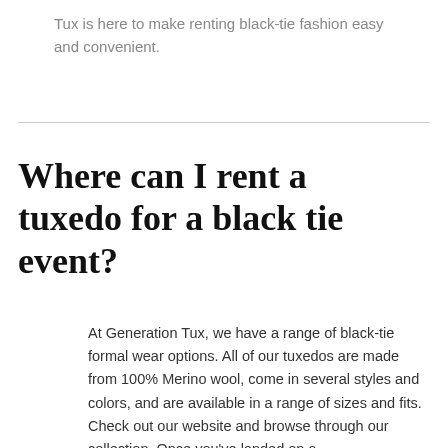Tux is here to make renting black-tie fashion easy and convenient.
Where can I rent a tuxedo for a black tie event?
At Generation Tux, we have a range of black-tie formal wear options. All of our tuxedos are made from 100% Merino wool, come in several styles and colors, and are available in a range of sizes and fits. Check out our website and browse through our collection. Once you've landed on a